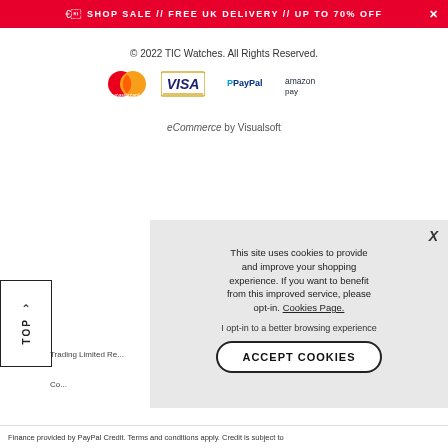🛍 SHOP SALE // FREE UK DELIVERY // UP TO 70% OFF
© 2022 TIC Watches. All Rights Reserved.
[Figure (logo): Payment logos: Mastercard, Visa, PayPal, Amazon Pay]
eCommerce by Visualsoft
This site uses cookies to provide and improve your shopping experience. If you want to benefit from this improved service, please opt-in. Cookies Page.
I opt-in to a better browsing experience
ACCEPT COOKIES
Trading Limited Re...
Co...
Finance provided by PayPal Credit. Terms and conditions apply. Credit is subject to